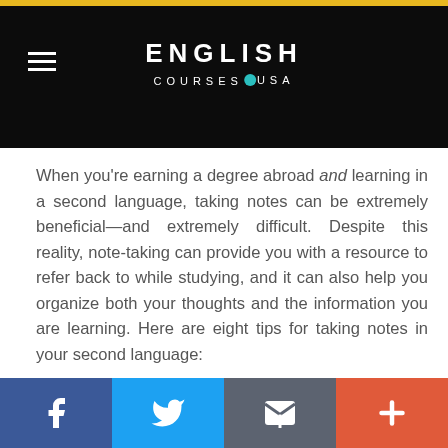[Figure (screenshot): Website header with dark background, gold top bar, hamburger menu icon on left, and 'ENGLISH COURSES USA' logo centered in white text with teal dot]
When you’re earning a degree abroad and learning in a second language, taking notes can be extremely beneficial—and extremely difficult. Despite this reality, note-taking can provide you with a resource to refer back to while studying, and it can also help you organize both your thoughts and the information you are learning. Here are eight tips for taking notes in your second language:
1. Prepare for class
Preparing for class ahead of time, either by reading ahead in the textbook or researching the lecture subject online, is well worth your time and effort. First of all, this preparation
Facebook | Twitter | Email | Plus